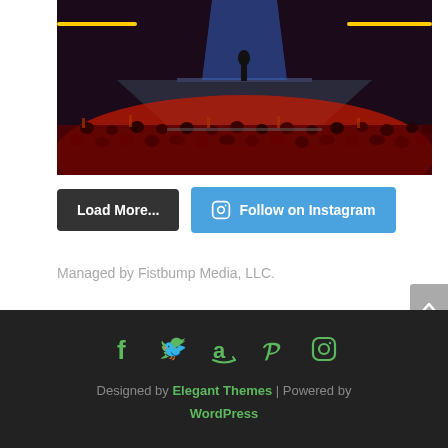[Figure (photo): Concert photo showing a performer on stage with red and blue lighting, crowd in foreground]
Load More...
Follow on Instagram
Managed by Fistbump Media, LLC.
Designed by Elegant Themes | Powered by WordPress